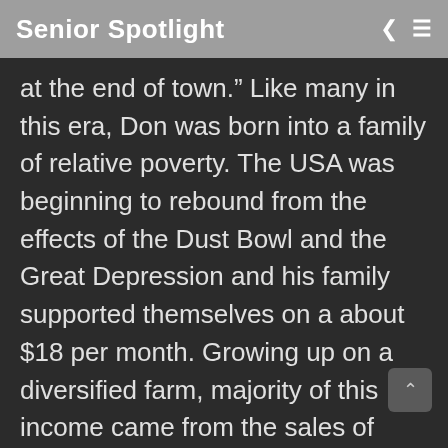Senior Spotlight
at the end of town.” Like many in this era, Don was born into a family of relative poverty. The USA was beginning to rebound from the effects of the Dust Bowl and the Great Depression and his family supported themselves on a about $18 per month. Growing up on a diversified farm, majority of this income came from the sales of eggs, meat, and butter in town. Don